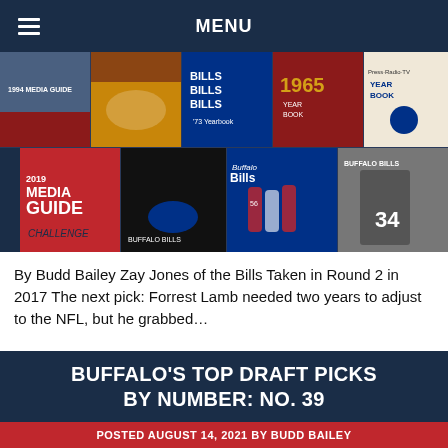MENU
[Figure (photo): Collage of Buffalo Bills media guides and yearbooks from various years including 2019 Media Guide, 1994 Media Guide, '73 Yearbook, 1965 Yearbook, Press-Radio-TV Year Book, and other Bills publications.]
By Budd Bailey Zay Jones of the Bills Taken in Round 2 in 2017 The next pick: Forrest Lamb needed two years to adjust to the NFL, but he grabbed…
BUFFALO'S TOP DRAFT PICKS BY NUMBER: NO. 39
POSTED AUGUST 14, 2021 BY BUDD BAILEY